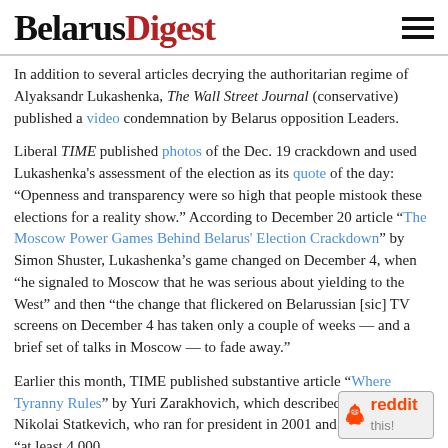BelarusDigest
In addition to several articles decrying the authoritarian regime of Alyaksandr Lukashenka, The Wall Street Journal (conservative) published a video condemnation by Belarus opposition Leaders.
Liberal TIME published photos of the Dec. 19 crackdown and used Lukashenka's assessment of the election as its quote of the day: “Openness and transparency were so high that people mistook these elections for a reality show.” According to December 20 article “The Moscow Power Games Behind Belarus' Election Crackdown” by Simon Shuster, Lukashenka’s game changed on December 4, when “he signaled to Moscow that he was serious about yielding to the West” and then “the change that flickered on Belarussian [sic] TV screens on December 4 has taken only a couple of weeks — and a brief set of talks in Moscow — to fade away.”
Earlier this month, TIME published substantive article “Where Tyranny Rules” by Yuri Zarakhovich, which described the fate of Nikolai Statkevich, who ran for president in 2001 and asserted that “at least 4,000
[Figure (logo): Reddit 'this!' badge with alien mascot logo]